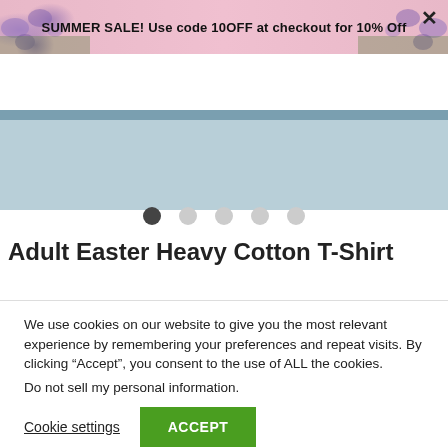SUMMER SALE! Use code 10OFF at checkout for 10% Off
[Figure (screenshot): Gadgets 4 Gifts website navigation bar with hamburger menu, logo with purple figure icon, search and cart icons]
[Figure (photo): Product image area with light blue/steel blue background showing partial product view with carousel dots]
Adult Easter Heavy Cotton T-Shirt
We use cookies on our website to give you the most relevant experience by remembering your preferences and repeat visits. By clicking “Accept”, you consent to the use of ALL the cookies.
Do not sell my personal information.
Cookie settings   ACCEPT